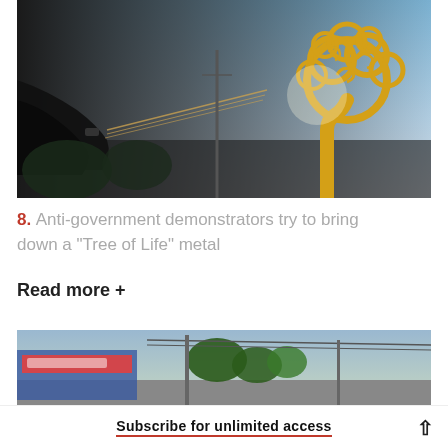[Figure (photo): A dark silhouette of a person's hands pulling ropes attached to a decorative golden tree-shaped metal sculpture (Tree of Life) against a cloudy sky background.]
8. Anti-government demonstrators try to bring down a "Tree of Life" metal
Read more +
[Figure (photo): Partial view of a street scene with trees and a colorful storefront sign.]
Subscribe for unlimited access